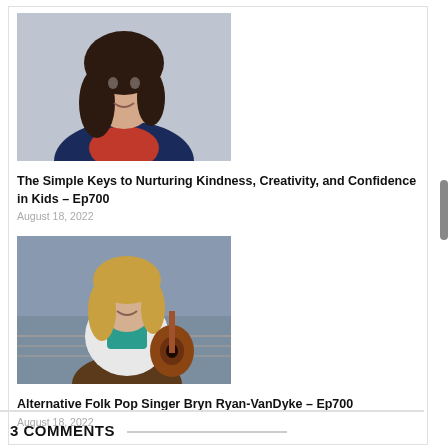[Figure (photo): Professional headshot of a woman with dark hair wearing a navy blazer and red top, smiling, light background]
The Simple Keys to Nurturing Kindness, Creativity, and Confidence in Kids – Ep700
August 18, 2022
[Figure (photo): Woman with long blonde hair sitting with an acoustic guitar, wearing a white jacket and brown pants, urban background]
Alternative Folk Pop Singer Bryn Ryan-VanDyke – Ep700
August 18, 2022
3 COMMENTS